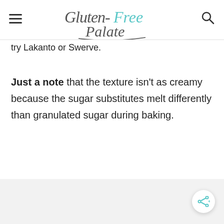Gluten-Free Palate
try Lakanto or Swerve.
Just a note that the texture isn't as creamy because the sugar substitutes melt differently than granulated sugar during baking.